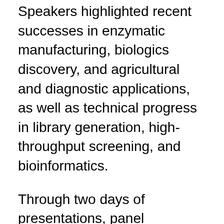Speakers highlighted recent successes in enzymatic manufacturing, biologics discovery, and agricultural and diagnostic applications, as well as technical progress in library generation, high-throughput screening, and bioinformatics.
Through two days of presentations, panel discussions and networking events, representatives from more than 50 industrial, entrepreneurial, and academic institutions learned about the latest developments in the field and exchanged ideas about future developments.
The keynote address by Nobel Laureate Dr. Frances H. Arnold illuminated the audience on the history of the field and highlighted the promise of protein engineering technology. Invited speakers from